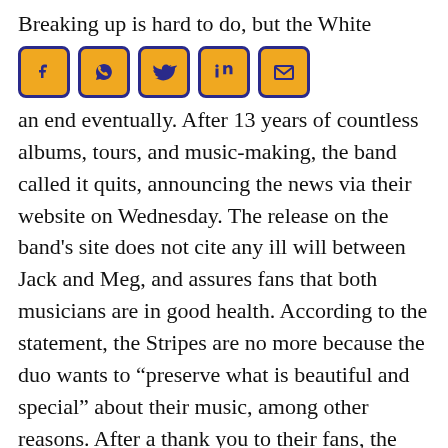Breaking up is hard to do, but the White Stripes came to an end eventually. After 13 years of countless albums, tours, and music-making, the band called it quits, announcing the news via their website on Wednesday. The release on the band's site does not cite any ill will between Jack and Meg, and assures fans that both musicians are in good health. According to the statement, the Stripes are no more because the duo wants to “preserve what is beautiful and special” about their music, among other reasons. After a thank you to their fans, the White Stripes are moving along to other projects. A second
[Figure (infographic): Social media share icons: Facebook, WhatsApp, Twitter, LinkedIn, Email — orange background with dark blue border]